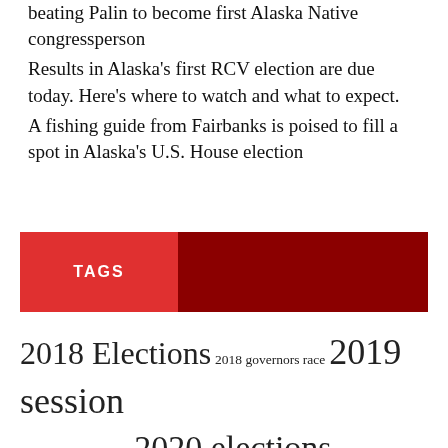beating Palin to become first Alaska Native congressperson
Results in Alaska's first RCV election are due today. Here's where to watch and what to expect.
A fishing guide from Fairbanks is poised to fill a spot in Alaska's U.S. House election
TAGS
2018 Elections 2018 governors race 2019 session 2019 special session 2020 elections 2020 session 2022 elections akleg recaps alaska democratic party alaska legislature alaska politics alaska republican party amy demboski anchorage bill